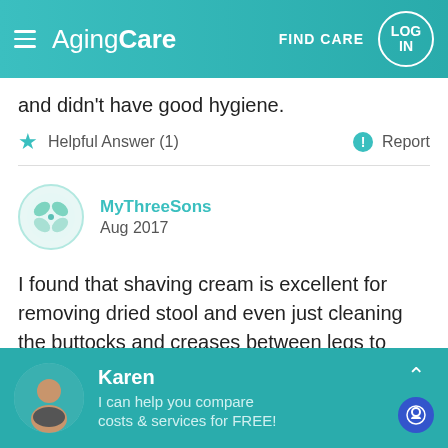AgingCare — FIND CARE — LOG IN
and didn't have good hygiene.
Helpful Answer (1)   Report
MyThreeSons
Aug 2017
I found that shaving cream is excellent for removing dried stool and even just cleaning the buttocks and creases between legs to remove stool & residual uric acid. In fact I used it at each change now for my 99 yo father. It picks up residue that even
Karen
I can help you compare costs & services for FREE!